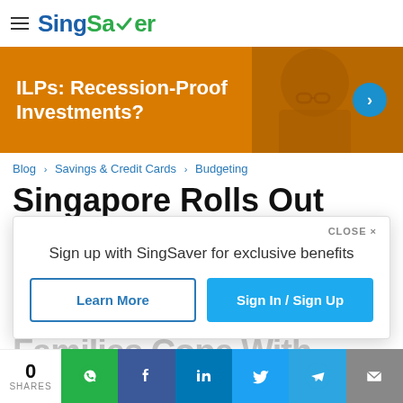SingSaver
[Figure (illustration): Orange banner advertisement: ILPs: Recession-Proof Investments? with a circular blue arrow button on the right and a blurred person's image in background]
Blog › Savings & Credit Cards › Budgeting
Singapore Rolls Out
Sign up with SingSaver for exclusive benefits
Learn More | Sign In / Sign Up
Families Cope With
0 SHARES | WhatsApp | Facebook | LinkedIn | Twitter | Telegram | Email